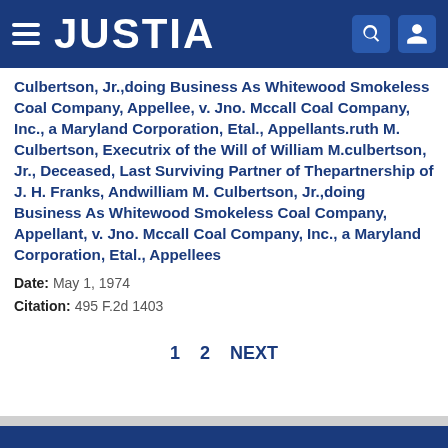JUSTIA
Culbertson, Jr.,doing Business As Whitewood Smokeless Coal Company, Appellee, v. Jno. Mccall Coal Company, Inc., a Maryland Corporation, Etal., Appellants.ruth M. Culbertson, Executrix of the Will of William M.culbertson, Jr., Deceased, Last Surviving Partner of Thepartnership of J. H. Franks, Andwilliam M. Culbertson, Jr.,doing Business As Whitewood Smokeless Coal Company, Appellant, v. Jno. Mccall Coal Company, Inc., a Maryland Corporation, Etal., Appellees
Date: May 1, 1974
Citation: 495 F.2d 1403
1  2  NEXT